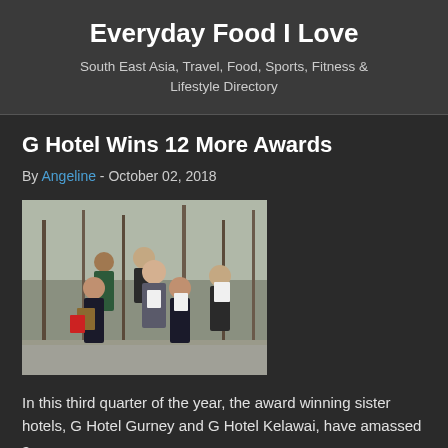Everyday Food I Love
South East Asia, Travel, Food, Sports, Fitness & Lifestyle Directory
G Hotel Wins 12 More Awards
By Angeline - October 02, 2018
[Figure (photo): Group of hotel staff and executives posing outdoors holding award certificates and plaques]
In this third quarter of the year, the award winning sister hotels, G Hotel Gurney and G Hotel Kelawai, have amassed a